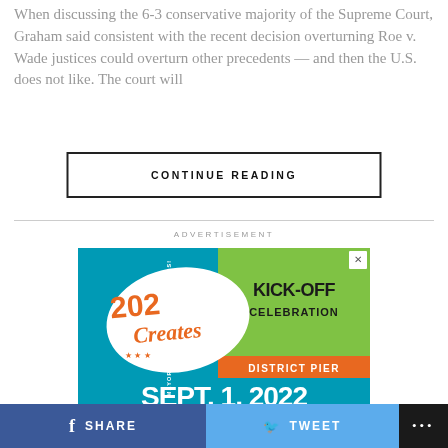When discussing the 6-3 conservative majority of the Supreme Court, Graham said consistent with the recent decision overturning Roe v. Wade justices could overturn other precedents — and then the U.S. does not like. The court will
CONTINUE READING
ADVERTISEMENT
[Figure (illustration): Advertisement banner for '202 Creates Kick-Off Celebration at District Pier, Sept. 1, 2022' presented by Mayor Muriel Bowser. Teal/green background with orange and white text. Features stylized '202 Creates' logo with stars.]
f SHARE   TWEET   ...